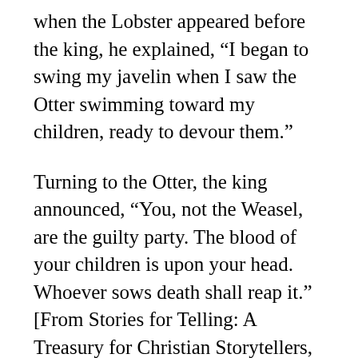When the Lobster appeared before the king, he explained, “I began to swing my javelin when I saw the Otter swimming toward my children, ready to devour them.”
Turning to the Otter, the king announced, “You, not the Weasel, are the guilty party. The blood of your children is upon your head. Whoever sows death shall reap it.” [From Stories for Telling: A Treasury for Christian Storytellers, William R. White,
p. 82ff, adapted] Now besides the fact that this story includes water animals, what does this folktale tell us about the oil spill in the Gulf of Mexico? There sure is plenty of blame to go around, isn’t there? Everyone points the finger